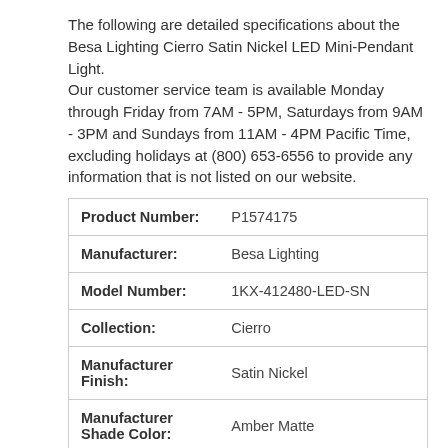The following are detailed specifications about the Besa Lighting Cierro Satin Nickel LED Mini-Pendant Light. Our customer service team is available Monday through Friday from 7AM - 5PM, Saturdays from 9AM - 3PM and Sundays from 11AM - 4PM Pacific Time, excluding holidays at (800) 653-6556 to provide any information that is not listed on our website.
| Attribute | Value |
| --- | --- |
| Product Number: | P1574175 |
| Manufacturer: | Besa Lighting |
| Model Number: | 1KX-412480-LED-SN |
| Collection: | Cierro |
| Manufacturer Finish: | Satin Nickel |
| Manufacturer Shade Color: | Amber Matte |
| Glass Treatment: | Matte |